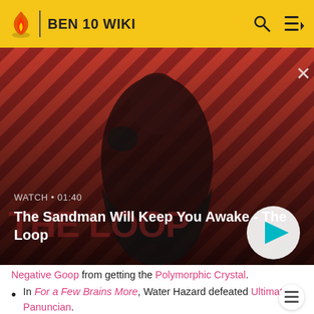BEN 10 WIKI
[Figure (screenshot): Video thumbnail for 'The Sandman Will Keep You Awake - The Loop' showing a dark figure with a raven on a diagonal striped red and dark background. Duration shown as 01:40.]
Negative Goop from getting the Polymorphic Crystal.
In For a Few Brains More, Water Hazard defeated Ultimate Panuncian.
In Bengeance is Mine, Water Hazard fought Sir Morton and the Forever Knights until Pakmar's shop got